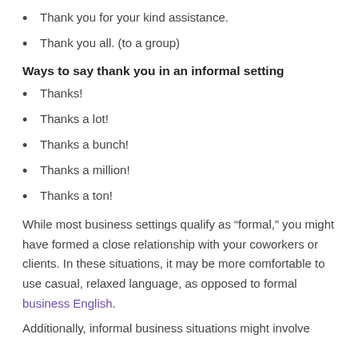Thank you for your kind assistance.
Thank you all. (to a group)
Ways to say thank you in an informal setting
Thanks!
Thanks a lot!
Thanks a bunch!
Thanks a million!
Thanks a ton!
While most business settings qualify as “formal,” you might have formed a close relationship with your coworkers or clients. In these situations, it may be more comfortable to use casual, relaxed language, as opposed to formal business English.
Additionally, informal business situations might involve